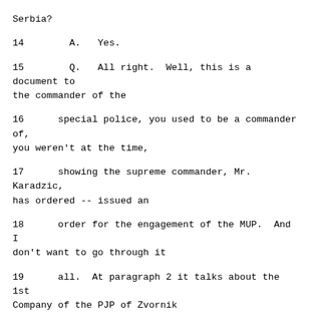Serbia?
14        A.   Yes.
15        Q.   All right.  Well, this is a document to the commander of the
16      special police, you used to be a commander of, you weren't at the time,
17      showing the supreme commander, Mr. Karadzic, has ordered -- issued an
18      order for the engagement of the MUP.  And I don't want to go through it
19      all.  At paragraph 2 it talks about the 1st Company of the PJP of Zvornik
20      being engaged.  In paragraph 3 it talks about